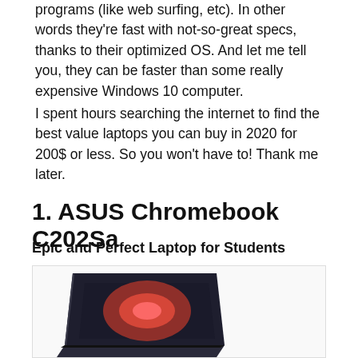programs (like web surfing, etc). In other words they're fast with not-so-great specs, thanks to their optimized OS. And let me tell you, they can be faster than some really expensive Windows 10 computer.
I spent hours searching the internet to find the best value laptops you can buy in 2020 for 200$ or less. So you won't have to! Thank me later.
1. ASUS Chromebook C202Sa
Epic and Perfect Laptop for Students
[Figure (photo): Photo of ASUS Chromebook C202Sa laptop viewed from above-front angle, showing the open lid with screen displaying a reddish/warm graphic, against a white background inside a light gray bordered box.]